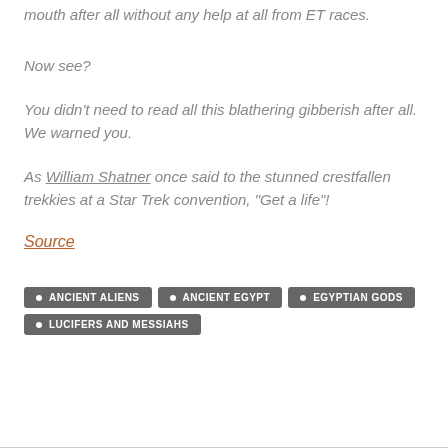mouth after all without any help at all from ET races.
Now see?
You didn't need to read all this blathering gibberish after all. We warned you.
As William Shatner once said to the stunned crestfallen trekkies at a Star Trek convention, "Get a life"!
Source
ANCIENT ALIENS
ANCIENT EGYPT
EGYPTIAN GODS
LUCIFERS AND MESSIAHS